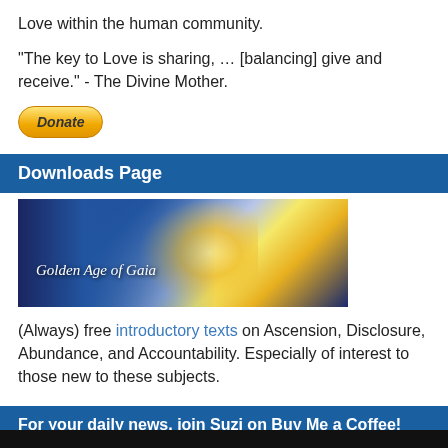Love within the human community.
"The key to Love is sharing, … [balancing] give and receive." - The Divine Mother.
[Figure (other): Donate button — orange/yellow pill-shaped button with italic bold text 'Donate']
Downloads Page
[Figure (illustration): Banner image with blue/purple sky and golden light rays. Text overlay reads 'Golden Age of Gaia' in italic white serif font.]
(Always) free introductory texts on Ascension, Disclosure, Abundance, and Accountability. Especially of interest to those new to these subjects.
For your daily news, join Suzi on Buy Me a Coffee!